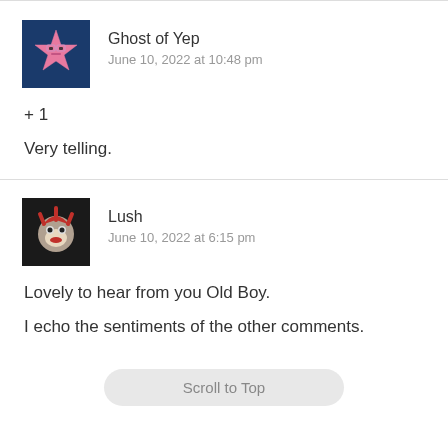Ghost of Yep
June 10, 2022 at 10:48 pm
+ 1

Very telling.
Lush
June 10, 2022 at 6:15 pm
Lovely to hear from you Old Boy.
I echo the sentiments of the other comments.